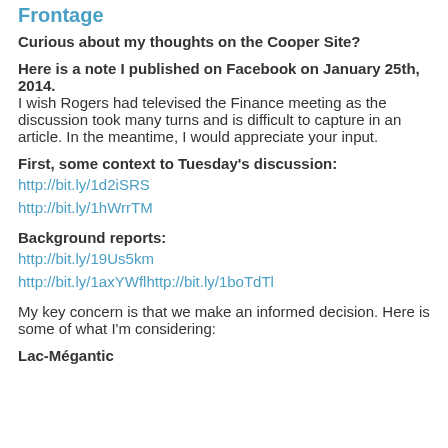Frontage
Curious about my thoughts on the Cooper Site?
Here is a note I published on Facebook on January 25th, 2014.
I wish Rogers had televised the Finance meeting as the discussion took many turns and is difficult to capture in an article. In the meantime, I would appreciate your input.
First, some context to Tuesday's discussion:
http://bit.ly/1d2iSRS
http://bit.ly/1hWrrTM
Background reports:
http://bit.ly/19Us5km
http://bit.ly/1axYWflhttp://bit.ly/1boTdTl
My key concern is that we make an informed decision. Here is some of what I'm considering:
Lac-Mégantic